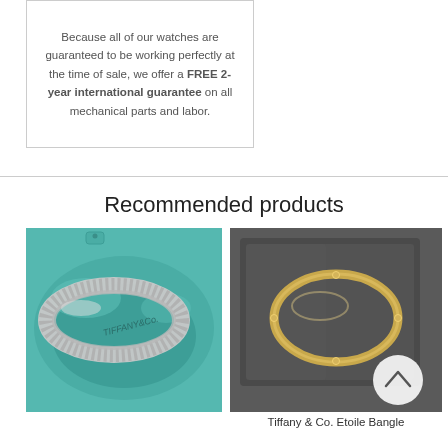Because all of our watches are guaranteed to be working perfectly at the time of sale, we offer a FREE 2-year international guarantee on all mechanical parts and labor.
Recommended products
[Figure (photo): Tiffany & Co. silver mesh bracelet on teal Tiffany pouch]
[Figure (photo): Tiffany & Co. Etoile Bangle gold bracelet on dark grey suede pouch, with circular back button]
Tiffany & Co. Etoile Bangle